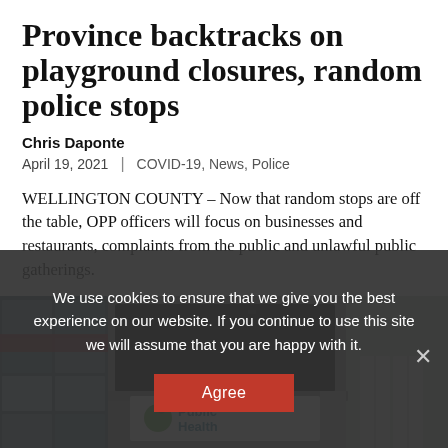Province backtracks on playground closures, random police stops
Chris Daponte
April 19, 2021  |  COVID-19, News, Police
WELLINGTON COUNTY – Now that random stops are off the table, OPP officers will focus on businesses and restaurants, complaints from the public and unlawful public gatherings.
[Figure (photo): Exterior of a Public Health building with glass facade, signage visible showing 'PublicHealth' logo with green apple/leaf icon, large dark digital display board above entrance.]
We use cookies to ensure that we give you the best experience on our website. If you continue to use this site we will assume that you are happy with it.